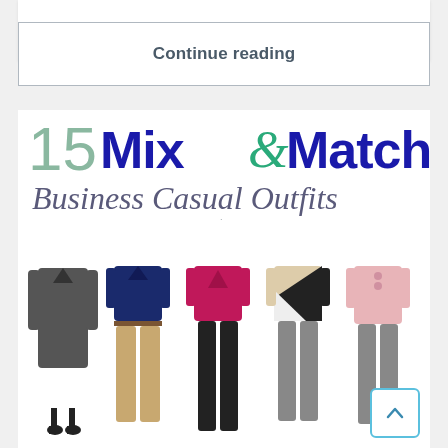Continue reading
[Figure (infographic): 15 Mix & Match Business Casual Outfits infographic showing five female outfit combinations with tops and bottoms. Website: www.EverydaySavvy.com. Features a dark blazer dress, navy blouse with khaki pants, magenta top with black pants, colorblock top with gray pants, and pink blouse with gray pants.]